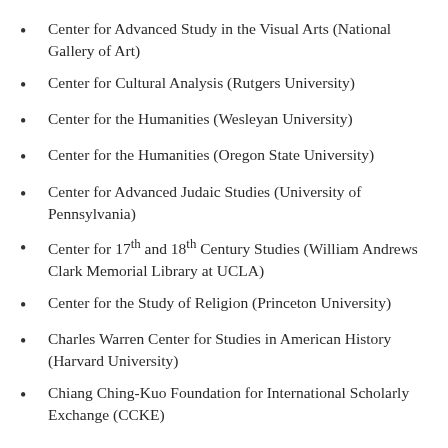Center for Advanced Study in the Visual Arts (National Gallery of Art)
Center for Cultural Analysis (Rutgers University)
Center for the Humanities (Wesleyan University)
Center for the Humanities (Oregon State University)
Center for Advanced Judaic Studies (University of Pennsylvania)
Center for 17th and 18th Century Studies (William Andrews Clark Memorial Library at UCLA)
Center for the Study of Religion (Princeton University)
Charles Warren Center for Studies in American History (Harvard University)
Chiang Ching-Kuo Foundation for International Scholarly Exchange (CCKE)